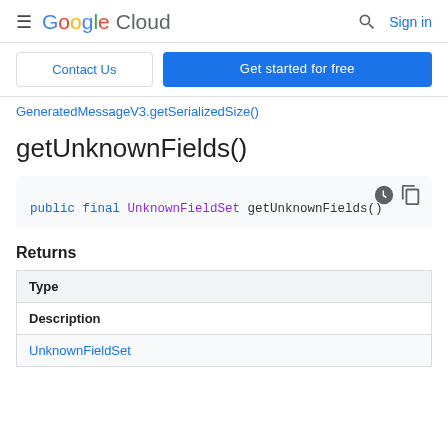Google Cloud — Search — Sign in
Contact Us | Get started for free
GeneratedMessageV3.getSerializedSize()
getUnknownFields()
public final UnknownFieldSet getUnknownFields()
Returns
| Type | Description |
| --- | --- |
| UnknownFieldSet |  |